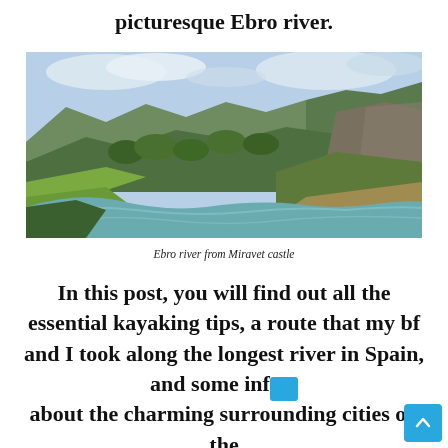picturesque Ebro river.
[Figure (photo): Aerial view of the Ebro river winding through green forested mountains and cliffs, taken from Miravet castle. Blue-green water curves left in a wide meander surrounded by lush green hills and rocky cliffs on the right, with a bright cloudy sky.]
Ebro river from Miravet castle
In this post, you will find out all the essential kayaking tips, a route that my bf and I took along the longest river in Spain, and some info about the charming surrounding cities on the